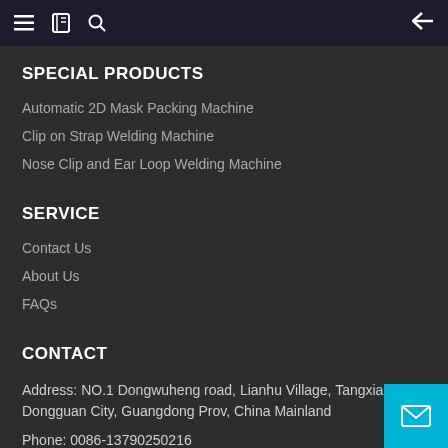Navigation bar with menu, bookmark, search, and back icons
SPECIAL PRODUCTS
Automatic 2D Mask Packing Machine
Clip on Strap Welding Machine
Nose Clip and Ear Loop Welding Machine
SERVICE
Contact Us
About Us
FAQs
CONTACT
Address:  NO.1 Dongwuheng road, Lianhu Village, Tangxia Town, Dongguan City, Guangdong Prov, China Mainland
Phone:  0086-13790250216